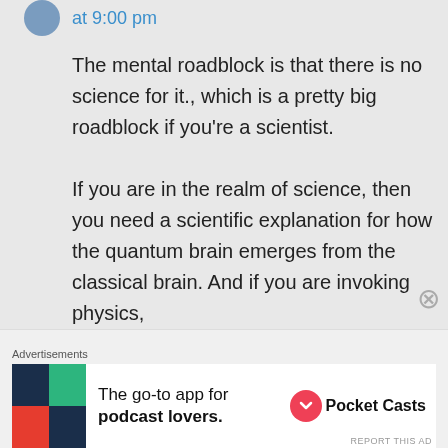at 9:00 pm
The mental roadblock is that there is no science for it., which is a pretty big roadblock if you're a scientist.

If you are in the realm of science, then you need a scientific explanation for how the quantum brain emerges from the classical brain. And if you are invoking physics,
Advertisements
[Figure (infographic): Pocket Casts advertisement: The go-to app for podcast lovers.]